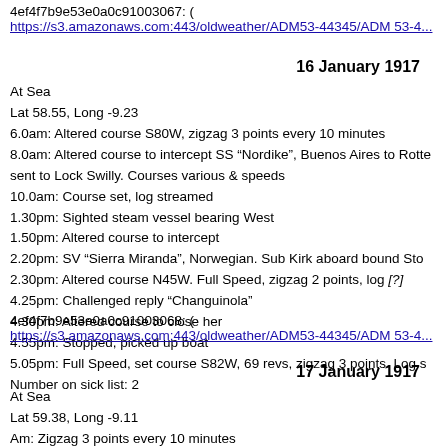4ef4f7b9e53e0a0c91003067: (https://s3.amazonaws.com:443/oldweather/ADM53-44345/ADM 53-44...)
16 January 1917
At Sea
Lat 58.55, Long -9.23
6.0am: Altered course S80W, zigzag 3 points every 10 minutes
8.0am: Altered course to intercept SS “Nordike”, Buenos Aires to Rotte...
sent to Lock Swilly. Courses various & speeds
10.0am: Course set, log streamed
1.30pm: Sighted steam vessel bearing West
1.50pm: Altered course to intercept
2.20pm: SV “Sierra Miranda”, Norwegian. Sub Kirk aboard bound Sto...
2.30pm: Altered course N45W. Full Speed, zigzag 2 points, log [?]
4.25pm: Challenged reply “Changuinola”
4.30pm: Altered course to close her
4.55pm: Stopped, picked up boat
5.05pm: Full Speed, set course S82W, 69 revs, zigzag 3 points. Log s...
Number on sick list: 2
4ef4f7b9e53e0a0c91003068: (https://s3.amazonaws.com:443/oldweather/ADM53-44345/ADM 53-44...)
17 January 1917
At Sea
Lat 59.38, Long -9.11
Am: Zigzag 3 points every 10 minutes
9.0am: Divisions & Prayers. Exercise fire stations
Am: Altered course to intercept SS. Boarded SS “Mina Blae”. Allowe...